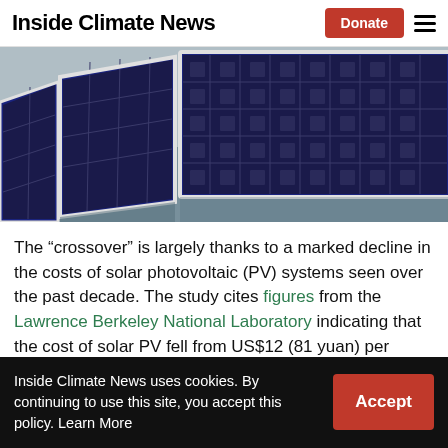Inside Climate News
[Figure (photo): Rows of solar photovoltaic (PV) panels mounted outdoors at a low angle, photographed from ground level showing the dark panel surfaces and white frames against a bright sky.]
The “crossover” is largely thanks to a marked decline in the costs of solar photovoltaic (PV) systems seen over the past decade. The study cites figures from the Lawrence Berkeley National Laboratory indicating that the cost of solar PV fell from US$12 (81 yuan) per installed watt in 1998 to US$8 (54 yuan) in 2008, on
Inside Climate News uses cookies. By continuing to use this site, you accept this policy. Learn More